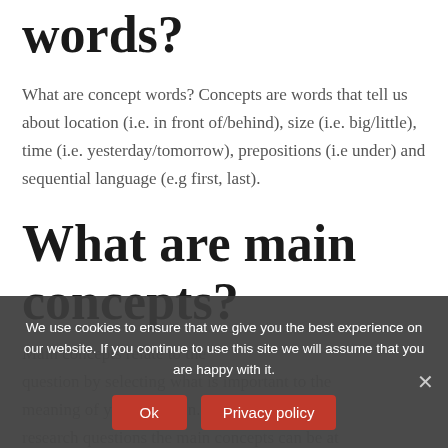words?
What are concept words? Concepts are words that tell us about location (i.e. in front of/behind), size (i.e. big/little), time (i.e. yesterday/tomorrow), prepositions (i.e under) and sequential language (e.g first, last).
What are main concepts?
Main concepts relate to the question by selecting what is important to the meaning of your question. This is true with research questions the main concepts can be at
We use cookies to ensure that we give you the best experience on our website. If you continue to use this site we will assume that you are happy with it.